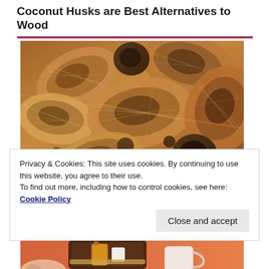Coconut Husks are Best Alternatives to Wood
[Figure (photo): Close-up photograph of dried coconut husks piled together, showing brown fibrous texture and shells.]
Privacy & Cookies: This site uses cookies. By continuing to use this website, you agree to their use.
To find out more, including how to control cookies, see here: Cookie Policy
Close and accept
[Figure (photo): Partial view of a tray with items on an orange background, possibly a spa or cosmetic product display.]